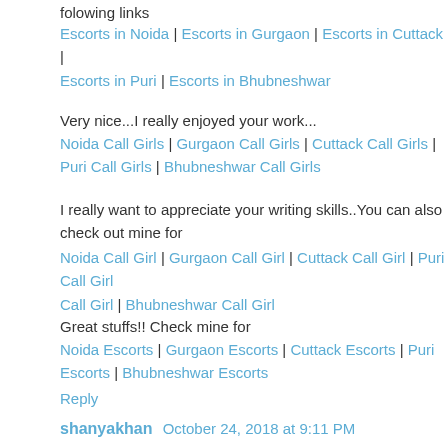folowing links
Escorts in Noida | Escorts in Gurgaon | Escorts in Cuttack | Escorts in Puri | Escorts in Bhubneshwar
Very nice...I really enjoyed your work...
Noida Call Girls | Gurgaon Call Girls | Cuttack Call Girls | Puri Call Girls | Bhubneshwar Call Girls
I really want to appreciate your writing skills..You can also check out mine for
Noida Call Girl | Gurgaon Call Girl | Cuttack Call Girl | Puri Call Girl | Bhubneshwar Call Girl
Great stuffs!! Check mine for
Noida Escorts | Gurgaon Escorts | Cuttack Escorts | Puri Escorts | Bhubneshwar Escorts
Reply
shanyakhan October 24, 2018 at 9:11 PM
Keep on writing, great job!